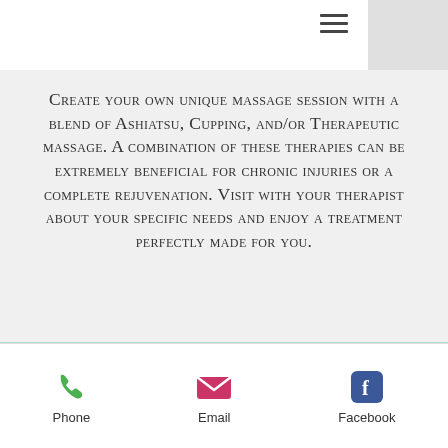[Figure (other): Hamburger menu icon (three horizontal lines) in top navigation bar]
Create your own unique massage session with a blend of Ashiatsu, Cupping, and/or Therapeutic massage. A combination of these therapies can be extremely beneficial for chronic injuries or a complete rejuvenation. Visit with your therapist about your specific needs and enjoy a treatment perfectly made for you.
[Figure (other): Instagram and Facebook social media icons in teal/mint footer area, with a circular up-arrow button on the right]
© 2019 by Heidi Quinn, LMT.  created by Wix.com
Phone    Email    Facebook